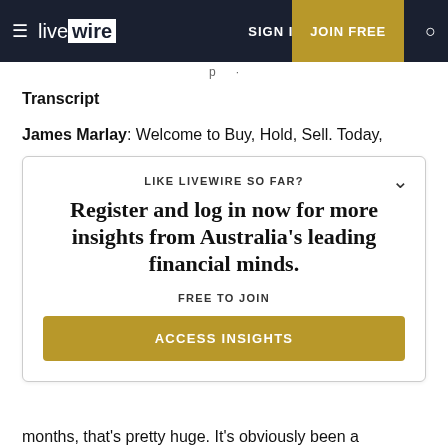live wire | SIGN IN | JOIN FREE
Transcript
James Marlay: Welcome to Buy, Hold, Sell. Today,
LIKE LIVEWIRE SO FAR?
Register and log in now for more insights from Australia's leading financial minds.
FREE TO JOIN
ACCESS INSIGHTS
months, that's pretty huge. It's obviously been a